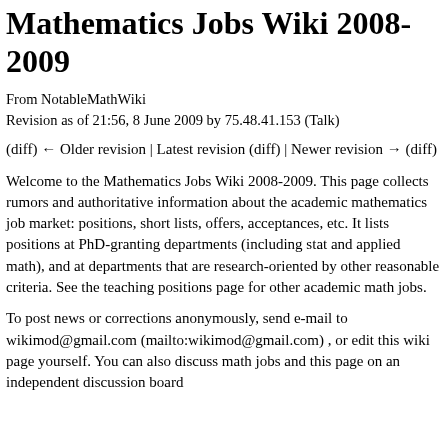Mathematics Jobs Wiki 2008-2009
From NotableMathWiki
Revision as of 21:56, 8 June 2009 by 75.48.41.153 (Talk)
(diff) ← Older revision | Latest revision (diff) | Newer revision → (diff)
Welcome to the Mathematics Jobs Wiki 2008-2009. This page collects rumors and authoritative information about the academic mathematics job market: positions, short lists, offers, acceptances, etc. It lists positions at PhD-granting departments (including stat and applied math), and at departments that are research-oriented by other reasonable criteria. See the teaching positions page for other academic math jobs.
To post news or corrections anonymously, send e-mail to wikimod@gmail.com (mailto:wikimod@gmail.com) , or edit this wiki page yourself. You can also discuss math jobs and this page on an independent discussion board